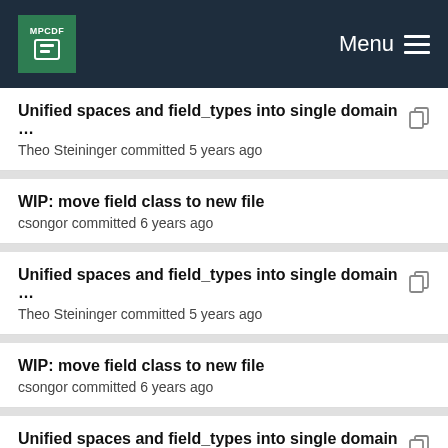MPCDF Menu
Unified spaces and field_types into single domain ... Theo Steininger committed 5 years ago
WIP: move field class to new file
csongor committed 6 years ago
Unified spaces and field_types into single domain ... Theo Steininger committed 5 years ago
WIP: move field class to new file
csongor committed 6 years ago
Unified spaces and field_types into single domain ... Theo Steininger committed 5 years ago
WIP: move field class to new file
csongor committed 6 years ago
Unified spaces and field_types into single domain ... Theo Steininger committed 5 years ago